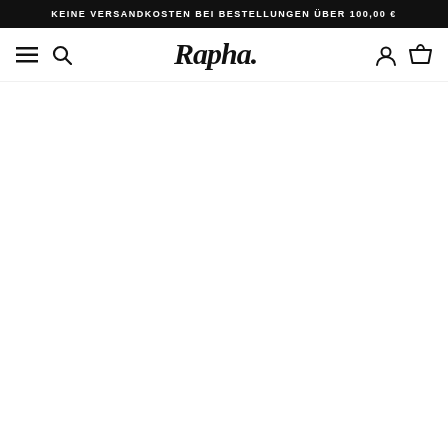KEINE VERSANDKOSTEN BEI BESTELLUNGEN ÜBER 100,00 €
[Figure (logo): Rapha brand logo — stylized italic handwritten wordmark with period]